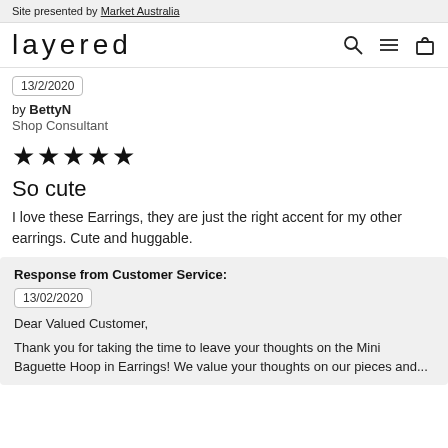Site presented by Market Australia
layered
13/2/2020
by BettyN
Shop Consultant
★★★★★
So cute
I love these Earrings, they are just the right accent for my other earrings. Cute and huggable.
Response from Customer Service:
13/02/2020
Dear Valued Customer,
Thank you for taking the time to leave your thoughts on the Mini Baguette Hoop in Earrings! We value your thoughts on our pieces and...